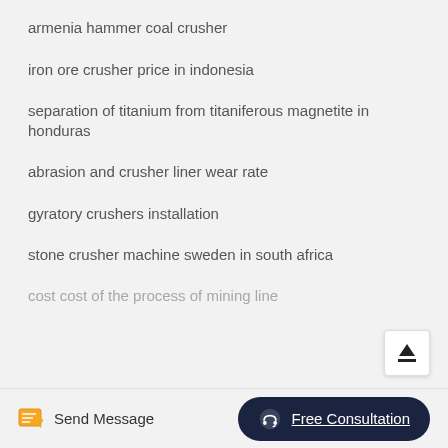armenia hammer coal crusher
iron ore crusher price in indonesia
separation of titanium from titaniferous magnetite in honduras
abrasion and crusher liner wear rate
gyratory crushers installation
stone crusher machine sweden in south africa
cost cost of the process of mining line
Send Message   Free Consultation